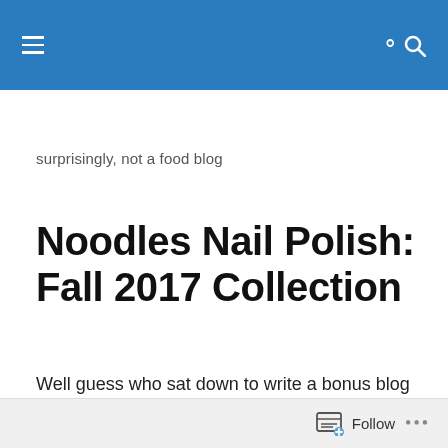surprisingly, not a food blog — navigation header with hamburger menu and search icon
surprisingly, not a food blog
Noodles Nail Polish: Fall 2017 Collection
Well guess who sat down to write a bonus blog last night and then didn't write one?  Cuz about 2.5 seconds into it, accidental head lolling, mouth gaping and general unattractiveness ensued, soooooo… Clearly this whole blogging thing is going really really well.  Ugh
Follow